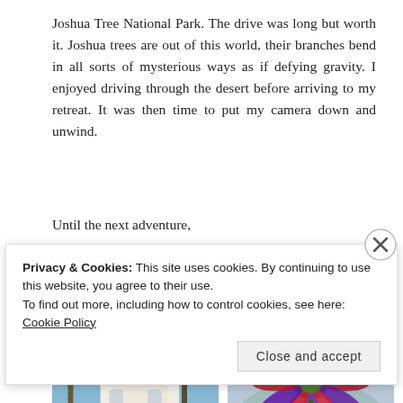Joshua Tree National Park. The drive was long but worth it. Joshua trees are out of this world, their branches bend in all sorts of mysterious ways as if defying gravity. I enjoyed driving through the desert before arriving to my retreat. It was then time to put my camera down and unwind.
Until the next adventure,
Diana
[Figure (photo): Left photo: A white ornate building with a tall tower against a blue sky, with palm trees.]
[Figure (photo): Right photo: Close-up of a colorful purple and red flower with blurred background.]
Privacy & Cookies: This site uses cookies. By continuing to use this website, you agree to their use.
To find out more, including how to control cookies, see here: Cookie Policy